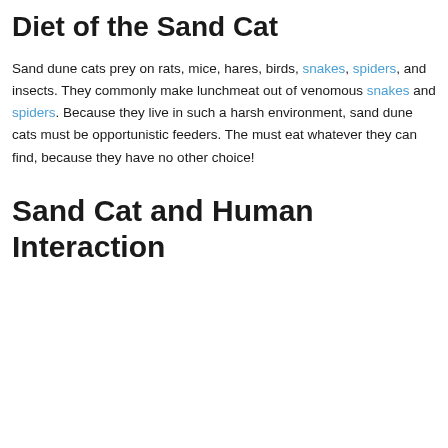Diet of the Sand Cat
Sand dune cats prey on rats, mice, hares, birds, snakes, spiders, and insects. They commonly make lunchmeat out of venomous snakes and spiders. Because they live in such a harsh environment, sand dune cats must be opportunistic feeders. The must eat whatever they can find, because they have no other choice!
Sand Cat and Human Interaction